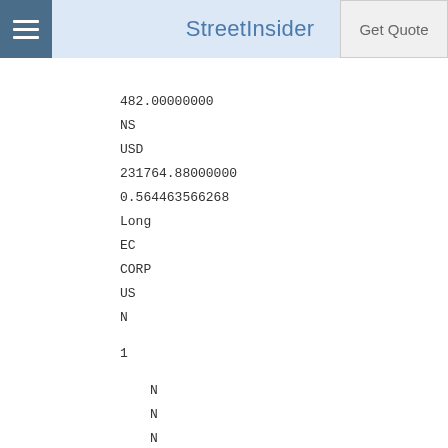StreetInsider | Get Quote
482.00000000
NS
USD
231764.88000000
0.564463566268
Long
EC
CORP
US
N
1
N
N
N
SCHWAB CHARLES CORP
549300VSGCJ7E698NM85